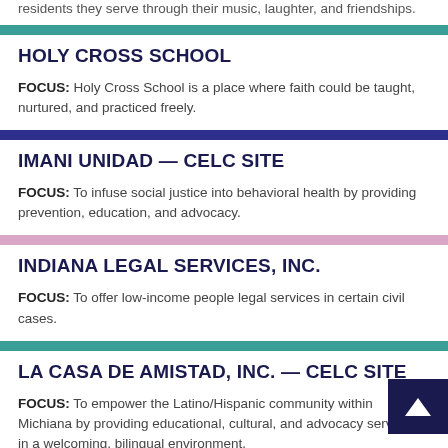residents they serve through their music, laughter, and friendships.
HOLY CROSS SCHOOL
FOCUS: Holy Cross School is a place where faith could be taught, nurtured, and practiced freely.
IMANI UNIDAD — CELC SITE
FOCUS: To infuse social justice into behavioral health by providing prevention, education, and advocacy.
INDIANA LEGAL SERVICES, INC.
FOCUS: To offer low-income people legal services in certain civil cases.
LA CASA DE AMISTAD, INC. — CELC SITE
FOCUS: To empower the Latino/Hispanic community within Michiana by providing educational, cultural, and advocacy services in a welcoming, bilingual environment.
MEMORIAL HOSPITAL AMBASSADOR AND